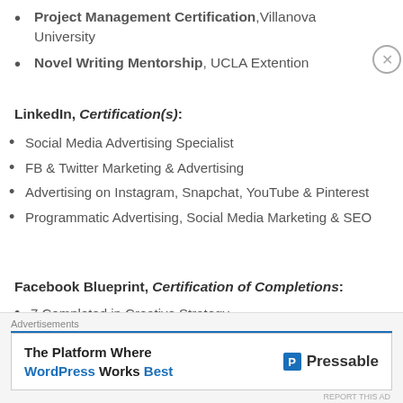Project Management Certification, Villanova University
Novel Writing Mentorship, UCLA Extention
LinkedIn, Certification(s):
Social Media Advertising Specialist
FB & Twitter Marketing & Advertising
Advertising on Instagram, Snapchat, YouTube & Pinterest
Programmatic Advertising, Social Media Marketing & SEO
Facebook Blueprint, Certification of Completions:
7 Completed in Creative Strategy
Advertisements The Platform Where WordPress Works Best - Pressable